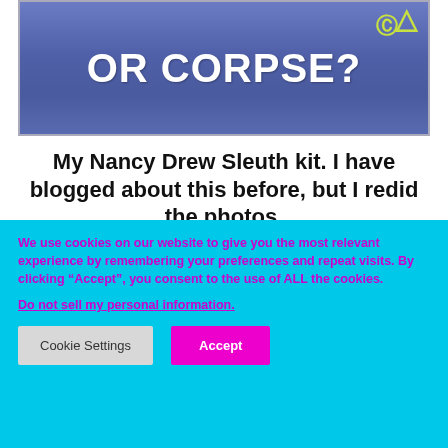[Figure (photo): Blue t-shirt with text 'OR CORPSE?' in large white bold letters, with a yellow copyright symbol and arrow visible on the right side.]
My Nancy Drew Sleuth kit. I have blogged about this before, but I redid the photos.
We use cookies on our website to give you the most relevant experience by remembering your preferences and repeat visits. By clicking “Accept”, you consent to the use of ALL the cookies.
Do not sell my personal information.
Cookie Settings
Accept